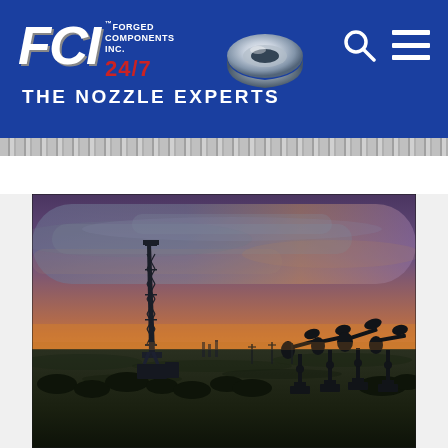[Figure (logo): FCI - Forged Components Inc. logo with 24/7 text and nozzle icon on blue background. Tagline: THE NOZZLE EXPERTS]
[Figure (photo): Oil field at sunset with a drilling rig tower on the left and multiple pump jacks silhouetted on the right against an orange and purple sky]